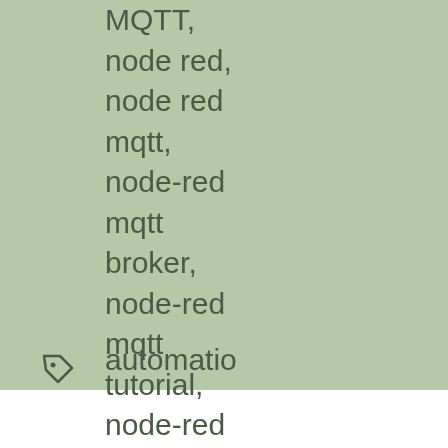MQTT, node red, node red mqtt, node-red mqtt broker, node-red mqtt tutorial, node-red raspberry pi, node-red tutorial, nodered, open automatio